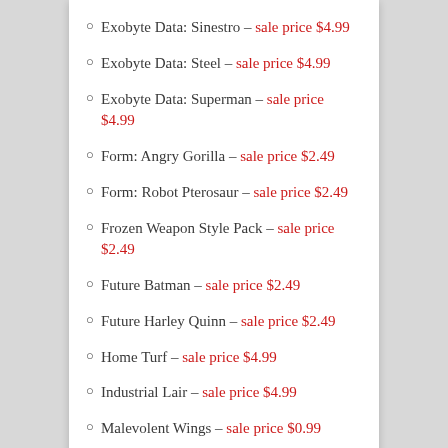Exobyte Data: Sinestro – sale price $4.99
Exobyte Data: Steel – sale price $4.99
Exobyte Data: Superman – sale price $4.99
Form: Angry Gorilla – sale price $2.49
Form: Robot Pterosaur – sale price $2.49
Frozen Weapon Style Pack – sale price $2.49
Future Batman – sale price $2.49
Future Harley Quinn – sale price $2.49
Home Turf – sale price $4.99
Industrial Lair – sale price $4.99
Malevolent Wings – sale price $0.99
Mecha-Star Wings – sale price $0.99
One Additional Character Slot – sale price $2.49
Organic Weapon Style Pack – sale price $2.49
Portable Workstation – sale price $4.99